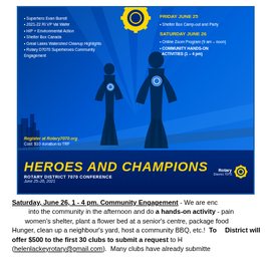[Figure (infographic): Rotary District 7070 'Heroes and Champions' Conference poster for June 25-26, 2021. Blue background with superhero silhouettes, Rotary gear logo, event schedule, and golden title text.]
Saturday, June 26, 1 - 4 pm. Community Engagement - We are encouraging clubs to go into the community in the afternoon and do a hands-on activity - paint a room at a women's shelter, plant a flower bed at a senior's centre, package food for Stop Hunger, clean up a neighbour's yard, host a community BBQ, etc.! To District will offer $500 to the first 30 clubs to submit a request to H (helenlackeyrotary@gmail.com). Many clubs have already submitte